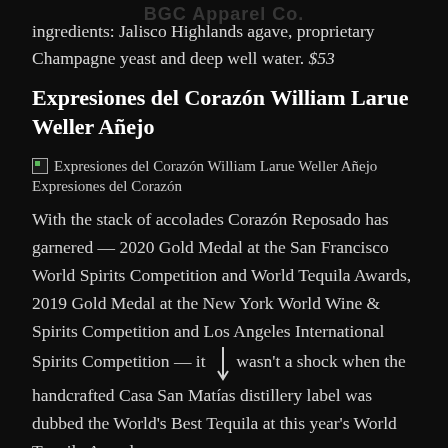BGC Apparel Co.
ingredients: Jalisco Highlands agave, proprietary Champagne yeast and deep well water. $53
Expresiones del Corazón William Larue Weller Añejo
[Figure (photo): Product image of Expresiones del Corazón William Larue Weller Añejo with caption 'Expresiones del Corazón']
With the stack of accolades Corazón Reposado has garnered — 2020 Gold Medal at the San Francisco World Spirits Competition and World Tequila Awards, 2019 Gold Medal at the New York World Wine & Spirits Competition and Los Angeles International Spirits Competition — it wasn't a shock when the handcrafted Casa San Matías distillery label was dubbed the World's Best Tequila at this year's World Tequila Awards.